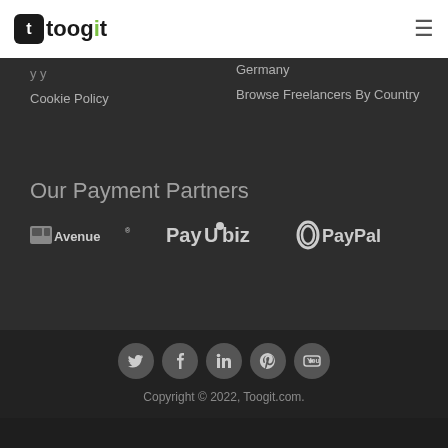[Figure (logo): Toogit logo with black icon and green 'i' letter]
Cookie Policy
Germany
Browse Freelancers By Country
Our Payment Partners
[Figure (logo): CCAvenue, PayUbiz, and PayPal payment partner logos in white/grey]
[Figure (infographic): Social media icons: Twitter, Facebook, LinkedIn, Pinterest, YouTube]
Copyright © 2022, Toogit.com.